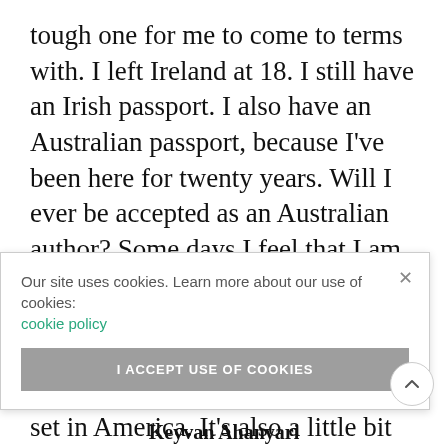tough one for me to come to terms with. I left Ireland at 18. I still have an Irish passport. I also have an Australian passport, because I've been here for twenty years. Will I ever be accepted as an Australian author? Some days I feel that I am. Some days that I feel that I am definitely not. Mammoth is more of an American story. It's about an American mastodon. It's primarily set in America. It's also a little bit of an Irish story because it is partially set in Ireland, and a few of [obscured] obviously [obscured] always lived [obscured]ng our [obscured]ewhere.
Our site uses cookies. Learn more about our use of cookies: cookie policy
I ACCEPT USE OF COOKIES
Keyvan Ahanyari